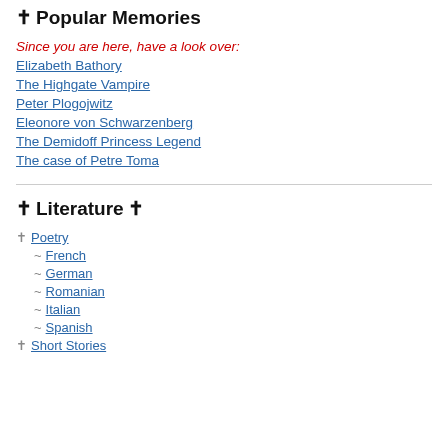✝ Popular Memories
Since you are here, have a look over:
Elizabeth Bathory
The Highgate Vampire
Peter Plogojwitz
Eleonore von Schwarzenberg
The Demidoff Princess Legend
The case of Petre Toma
✝ Literature ✝
✝ Poetry
~ French
~ German
~ Romanian
~ Italian
~ Spanish
✝ Short Stories